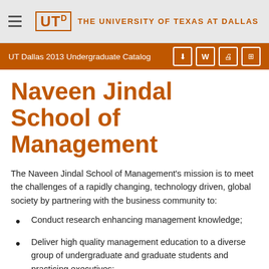THE UNIVERSITY OF TEXAS AT DALLAS
UT Dallas 2013 Undergraduate Catalog
Naveen Jindal School of Management
The Naveen Jindal School of Management's mission is to meet the challenges of a rapidly changing, technology driven, global society by partnering with the business community to:
Conduct research enhancing management knowledge;
Deliver high quality management education to a diverse group of undergraduate and graduate students and practicing executives;